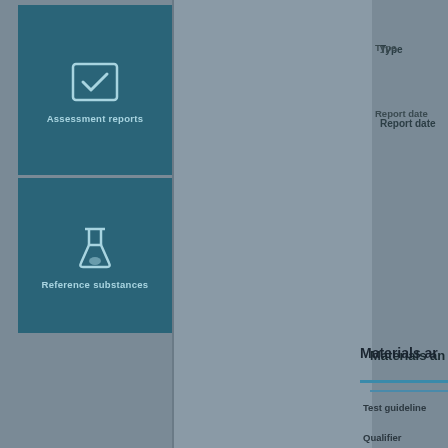[Figure (illustration): Teal box with checkmark icon and label 'Assessment reports']
[Figure (illustration): Teal box with laboratory flask icon and label 'Reference substances']
Type
Report date
Materials an
Test guideline
Qualifier
Guideline
Variance / remark
Deviations
GLP compliance
Test material